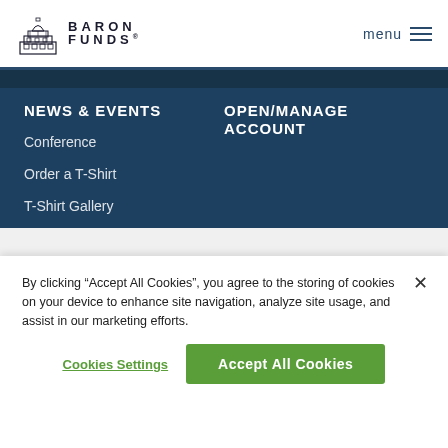BARON FUNDS — menu
NEWS & EVENTS
Conference
Order a T-Shirt
T-Shirt Gallery
Subscribe for updates
OPEN/MANAGE ACCOUNT
By clicking "Accept All Cookies", you agree to the storing of cookies on your device to enhance site navigation, analyze site usage, and assist in our marketing efforts.
Cookies Settings
Accept All Cookies